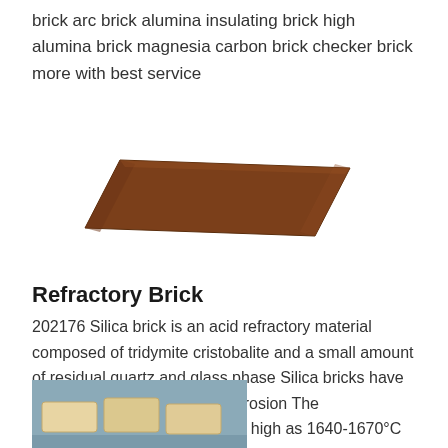brick arc brick alumina insulating brick high alumina brick magnesia carbon brick checker brick more with best service
[Figure (photo): A brown/reddish-brown refractory brick shown at a slight angle on a white background]
Refractory Brick
202176 Silica brick is an acid refractory material composed of tridymite cristobalite and a small amount of residual quartz and glass phase Silica bricks have good resistance to acid slag erosion The refractoriness under load is as high as 16401670°C and the volume is relatively stable under high temperature for longterm use
[Figure (photo): Partial photo showing refractory bricks on a blue/grey surface, beige/cream colored bricks visible at bottom of page]